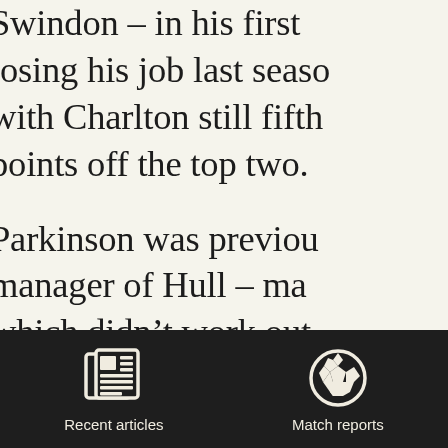Swindon – in his first … losing his job last seaso… with Charlton still fifth… points off the top two.
Parkinson was previou… manager of Hull – ma… which didn't work out… built his reputation as a… guiding Colchester to … Essex club having one … smallest gates in a Lea…
[Figure (illustration): Dark footer navigation bar with two icons: a newspaper icon labeled 'Recent articles' and a soccer ball icon labeled 'Match reports']